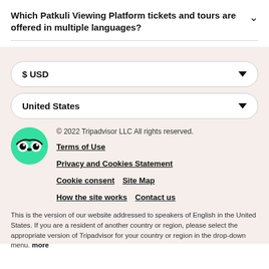Which Patkuli Viewing Platform tickets and tours are offered in multiple languages?
$ USD
United States
© 2022 Tripadvisor LLC All rights reserved.
Terms of Use
Privacy and Cookies Statement
Cookie consent   Site Map
How the site works   Contact us
This is the version of our website addressed to speakers of English in the United States. If you are a resident of another country or region, please select the appropriate version of Tripadvisor for your country or region in the drop-down menu. more